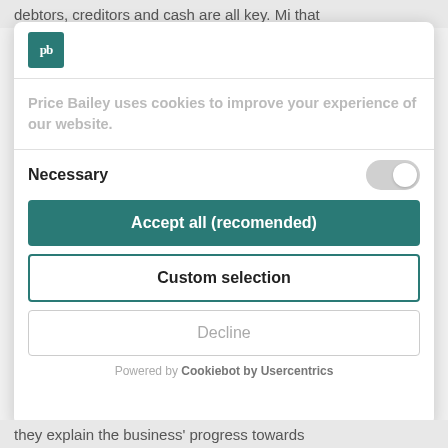debtors, creditors and cash are all key. Mi that
[Figure (logo): Price Bailey logo — teal square with white 'pb' letters]
Price Bailey uses cookies to improve your experience of our website.
Necessary
Accept all (recomended)
Custom selection
Decline
Powered by Cookiebot by Usercentrics
they explain the business' progress towards